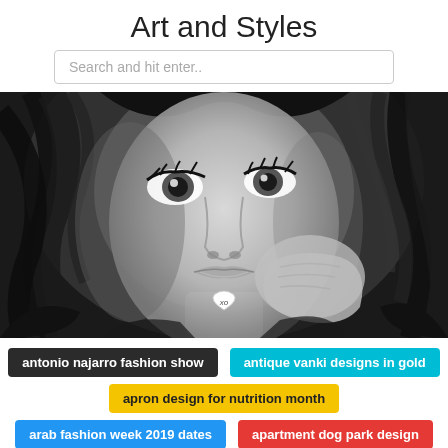Art and Styles
Search and hit enter..
[Figure (illustration): Black and white pencil/digital sketch of a young woman with large expressive eyes, full lips, and flowing dark hair. She is touching her face/neck with her hand. A small heart-shaped pendant with 'xo' text is visible on her chest.]
antonio najarro fashion show
antique vanki designs in gold
apron design for nutrition month
arab fashion week 2019 dates
apartment dog park design